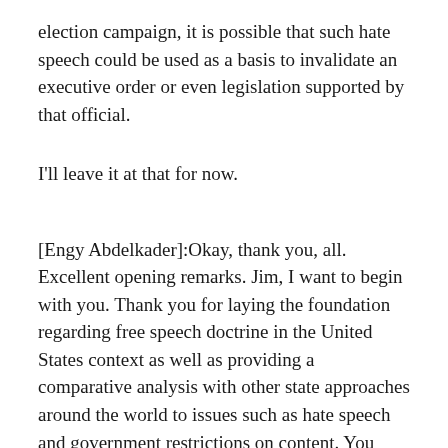election campaign, it is possible that such hate speech could be used as a basis to invalidate an executive order or even legislation supported by that official.
I'll leave it at that for now.
[Engy Abdelkader]:Okay, thank you, all. Excellent opening remarks. Jim, I want to begin with you. Thank you for laying the foundation regarding free speech doctrine in the United States context as well as providing a comparative analysis with other state approaches around the world to issues such as hate speech and government restrictions on content. You know, in